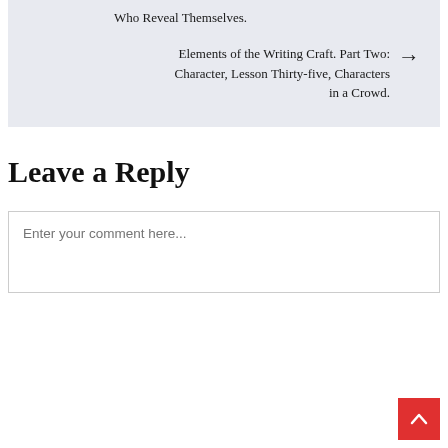Who Reveal Themselves.
Elements of the Writing Craft. Part Two: Character, Lesson Thirty-five, Characters in a Crowd.
Leave a Reply
Enter your comment here...